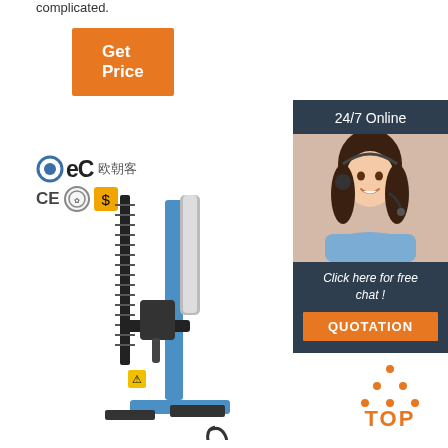complicated.
[Figure (other): Orange 'Get Price' button]
[Figure (logo): BEC logo with CE and certification badges]
[Figure (photo): Blue tire changing machine / wheel service equipment]
[Figure (infographic): 24/7 Online chat panel with female customer service agent, 'Click here for free chat!' text, and orange QUOTATION button]
[Figure (other): Orange TOP icon with dot triangle and bold TOP text]